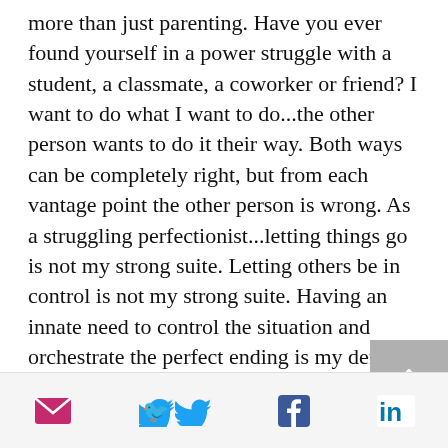more than just parenting. Have you ever found yourself in a power struggle with a student, a classmate, a coworker or friend? I want to do what I want to do...the other person wants to do it their way. Both ways can be completely right, but from each vantage point the other person is wrong. As a struggling perfectionist...letting things go is not my strong suite. Letting others be in control is not my strong suite. Having an innate need to control the situation and orchestrate the perfect ending is my default setting. But, it is not who I am working to be. I'm working to change my default
[email icon] [twitter icon] [facebook icon] [linkedin icon]